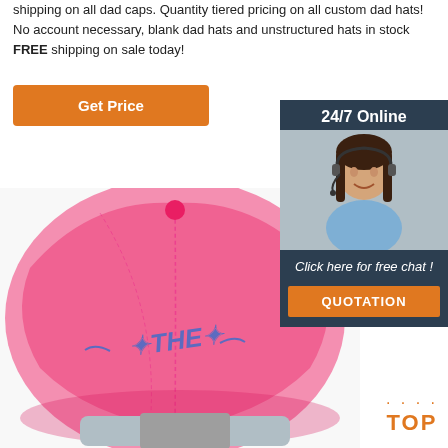shipping on all dad caps. Quantity tiered pricing on all custom dad hats! No account necessary, blank dad hats and unstructured hats in stock FREE shipping on sale today!
Get Price
24/7 Online
[Figure (photo): Woman with headset smiling, customer service agent photo]
Click here for free chat !
QUOTATION
[Figure (photo): Close-up of a pink dad hat with 'THE' embroidered text on the back, showing adjustable strap]
TOP